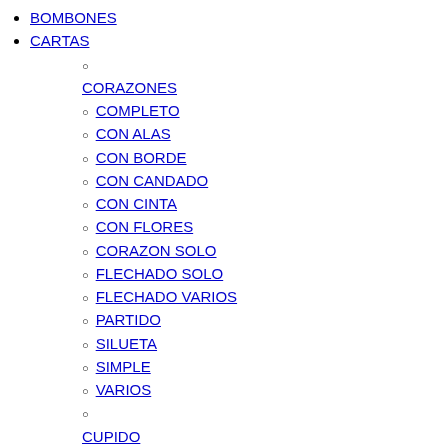BOMBONES
CARTAS
CORAZONES
COMPLETO
CON ALAS
CON BORDE
CON CANDADO
CON CINTA
CON FLORES
CORAZON SOLO
FLECHADO SOLO
FLECHADO VARIOS
PARTIDO
SILUETA
SIMPLE
VARIOS
CUPIDO
CUPIDO
CUPIDO FLECHANDO
CUPIDO SILUETA
GLOBOS DE CORAZONES
NOVIOS
MATRIMONIO
NOVIOS BAILANDO
NOVIOS BESANDOSE